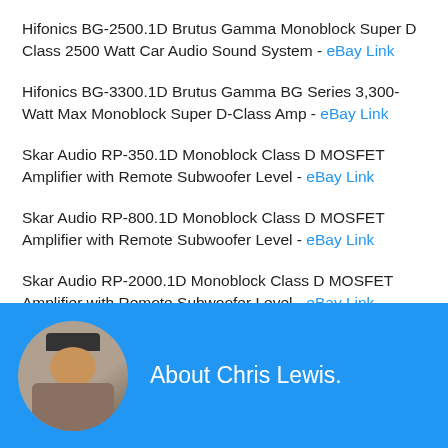Hifonics BG-2500.1D Brutus Gamma Monoblock Super D Class 2500 Watt Car Audio Sound System - eBay Link
Hifonics BG-3300.1D Brutus Gamma BG Series 3,300-Watt Max Monoblock Super D-Class Amp - eBay Link
Skar Audio RP-350.1D Monoblock Class D MOSFET Amplifier with Remote Subwoofer Level - eBay Link
Skar Audio RP-800.1D Monoblock Class D MOSFET Amplifier with Remote Subwoofer Level - eBay Link
Skar Audio RP-2000.1D Monoblock Class D MOSFET Amplifier with Remote Subwoofer Level - eBay Link
[Figure (photo): Circular avatar photo of Chris Lewis, a man wearing a dark beanie hat, looking down, in a plaid/flannel shirt]
About Chris Lewis.